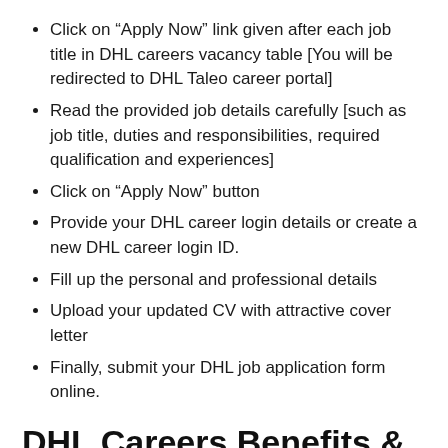Click on “Apply Now” link given after each job title in DHL careers vacancy table [You will be redirected to DHL Taleo career portal]
Read the provided job details carefully [such as job title, duties and responsibilities, required qualification and experiences]
Click on “Apply Now” button
Provide your DHL career login details or create a new DHL career login ID.
Fill up the personal and professional details
Upload your updated CV with attractive cover letter
Finally, submit your DHL job application form online.
DHL Careers Benefits & Perks
We think this says a lot about who we are, and it’s something that makes us extremely proud. The compensation you receive will depend on a number of